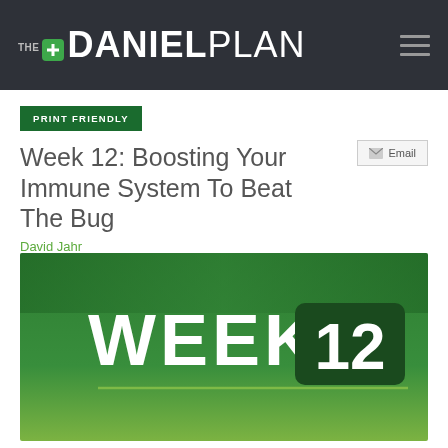THE DANIEL PLAN
PRINT FRIENDLY
Week 12: Boosting Your Immune System To Beat The Bug
Email
David Jahr
[Figure (illustration): Green gradient banner image with bold white text reading WEEK 12, with 12 in a dark green rounded rectangle badge, and a thin light green horizontal line below the text.]